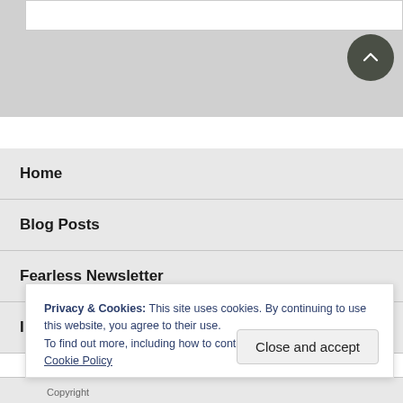Home
Blog Posts
Fearless Newsletter
I Believe You!
Privacy & Cookies: This site uses cookies. By continuing to use this website, you agree to their use.
To find out more, including how to control cookies, see here: Cookie Policy
Close and accept